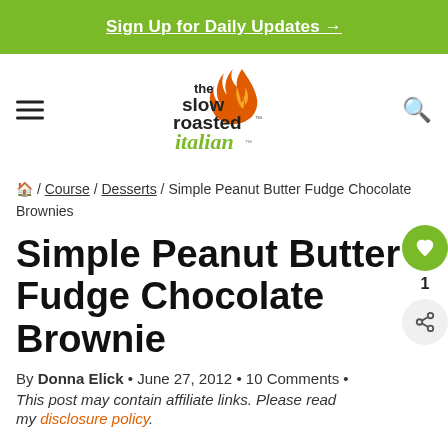Sign Up for Daily Updates →
[Figure (logo): The Slow Roasted Italian logo with flame graphic and italic script]
🏠 / Course / Desserts / Simple Peanut Butter Fudge Chocolate Brownies
Simple Peanut Butter Fudge Chocolate Brownies
By Donna Elick • June 27, 2012 • 10 Comments •
This post may contain affiliate links. Please read my disclosure policy.